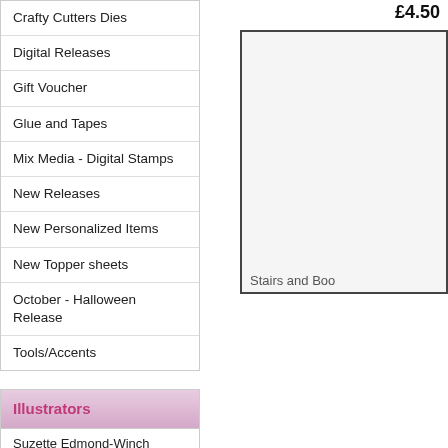Crafty Cutters Dies
Digital Releases
Gift Voucher
Glue and Tapes
Mix Media - Digital Stamps
New Releases
New Personalized Items
New Topper sheets
October - Halloween Release
Tools/Accents
Illustrators
Suzette Edmond-Winch
Justyna Karaszewska
£4.50
Stairs and Boo